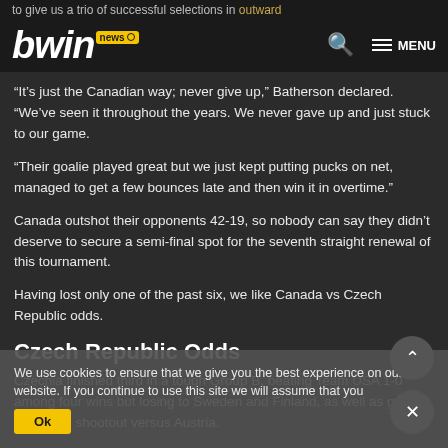bwin news — to give us a trio of successful selections in [outward]
“It’s just the Canadian way; never give up,” Batherson declared. “We’ve seen it throughout the years. We never gave up and just stuck to our game.
“Their goalie played great but we just kept putting pucks on net, managed to get a few bounces late and then win it in overtime.”
Canada outshot their opponents 42-19, so nobody can say they didn’t deserve to secure a semi-final spot for the seventh straight renewal of this tournament.
Having lost only one of the past six, we like Canada vs Czech Republic odds.
Czech Republic Odds
Czechia finished third in a tough Group B, beating Team USA 1-0 among four wins but losing to Sweden and Finland, as well as going down in a shootout versus Austria.
Three power play goals helped them to brush aside Germany 4-
We use cookies to ensure that we give you the best experience on our website. If you continue to use this site we will assume that you Ok